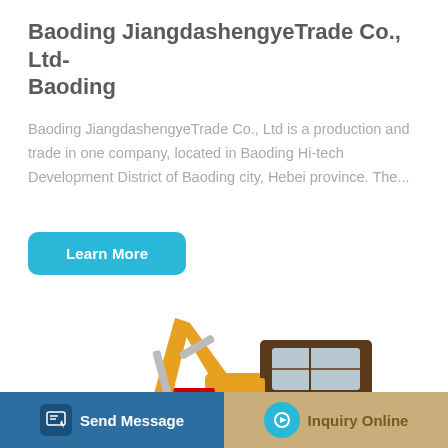Baoding JiangdashengyeTrade Co., Ltd-Baoding
Baoding JiangdashengyeTrade Co., Ltd is a production and trade in one company, located in Baoding Hi-tech Development District of Baoding city, Hebei province. The...
Learn More
[Figure (photo): Yellow LOVOL mini excavator with cab, shown on white background]
Send Message
Inquiry Online